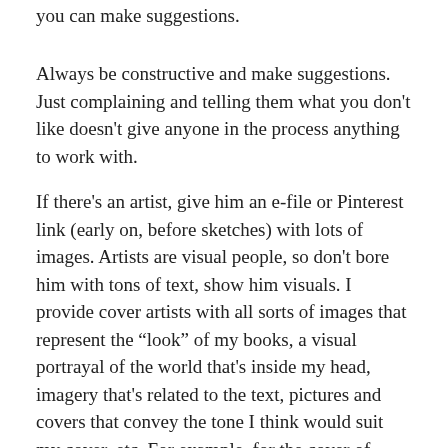you can make suggestions.
Always be constructive and make suggestions. Just complaining and telling them what you don't like doesn't give anyone in the process anything to work with.
If there's an artist, give him an e-file or Pinterest link (early on, before sketches) with lots of images. Artists are visual people, so don't bore him with tons of text, show him visuals. I provide cover artists with all sorts of images that represent the “look” of my books, a visual portrayal of the world that's inside my head, imagery that's related to the text, pictures and covers that convey the tone I think would suit my cover, etc. For example, for the cover of Unsympathetic Magic, I sent artist Dan Dos Santos loads of images from my research on Vodou; for The Misfortune Cookie, I sent him the photos I’d taken